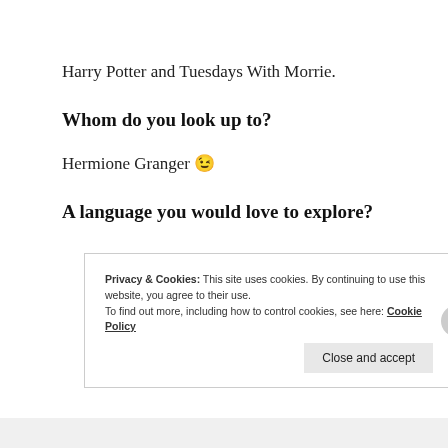Harry Potter and Tuesdays With Morrie.
Whom do you look up to?
Hermione Granger 😉
A language you would love to explore?
Privacy & Cookies: This site uses cookies. By continuing to use this website, you agree to their use.
To find out more, including how to control cookies, see here: Cookie Policy
Close and accept